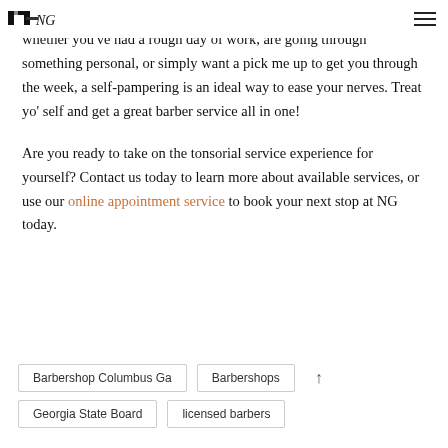NG logo and navigation menu
whether you've had a rough day of work, are going through something personal, or simply want a pick me up to get you through the week, a self-pampering is an ideal way to ease your nerves. Treat yo' self and get a great barber service all in one!
Are you ready to take on the tonsorial service experience for yourself? Contact us today to learn more about available services, or use our online appointment service to book your next stop at NG today.
Barbershop Columbus Ga
Barbershops
Georgia State Board
licensed barbers